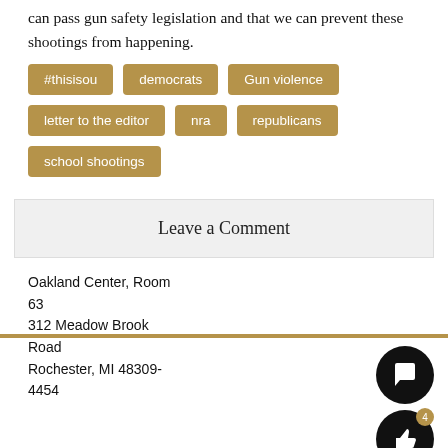can pass gun safety legislation and that we can prevent these shootings from happening.
#thisisou
democrats
Gun violence
letter to the editor
nra
republicans
school shootings
Leave a Comment
Oakland Center, Room 63
312 Meadow Brook Road
Rochester, MI 48309-4454